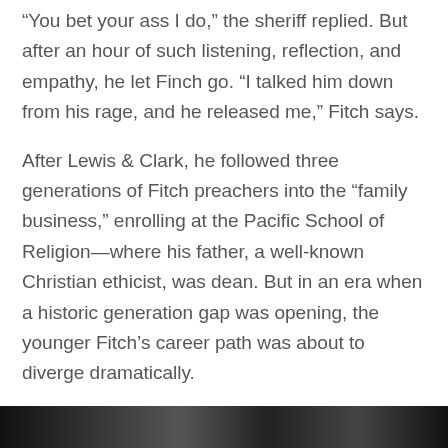“You bet your ass I do,” the sheriff replied. But after an hour of such listening, reflection, and empathy, he let Finch go. “I talked him down from his rage, and he released me,” Fitch says.
After Lewis & Clark, he followed three generations of Fitch preachers into the “family business,” enrolling at the Pacific School of Religion—where his father, a well-known Christian ethicist, was dean. But in an era when a historic generation gap was opening, the younger Fitch’s career path was about to diverge dramatically.
[Figure (photo): A dark photographic strip at the bottom of the page, showing a partially visible outdoor scene.]